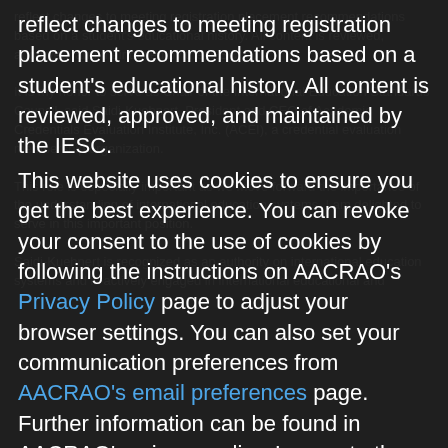reflect changes to meeting registration placement recommendations based on a student's educational history. All content is reviewed, approved, and maintained by the IESC.
This website uses cookies to ensure you get the best experience. You can revoke your consent to the use of cookies by following the instructions on AACRAO's Privacy Policy page to adjust your browser settings. You can also set your communication preferences from AACRAO's email preferences page. Further information can be found in AACRAO's privacy policy. I agree to the use of cookies for the purposes of web analytics. If I continue to use this website, this is considered consent. Learn more about AACRAO's Privacy Policy.
It is my honor to serve as Chair of the International Education Standards Council, said Saidi-Kuehnert, President and CEO of Academic Credentials Evaluation Institute, Inc. (ACEI), a credential evaluation membership organization.
This role is especially important as we move forward the importance of the understanding of international education systems. I am delighted to serve in this important position.
Saidi-Kuehnert is recognized as an authority on international education systems and is actively engaged in international educational and